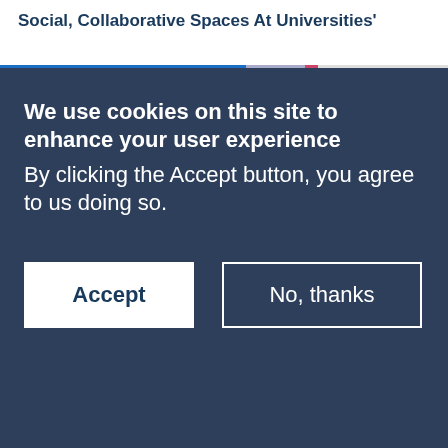Social, Collaborative Spaces At Universities'
We use cookies on this site to enhance your user experience
By clicking the Accept button, you agree to us doing so.